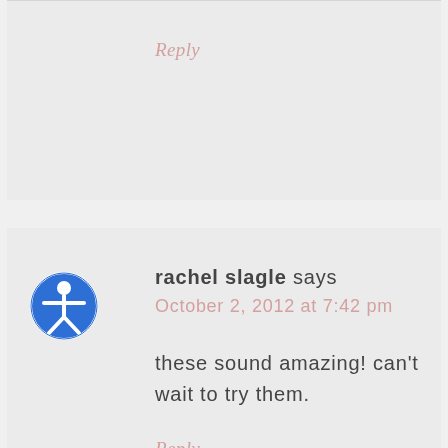Reply
rachel slagle says
October 2, 2012 at 7:42 pm
these sound amazing! can't wait to try them.
Reply